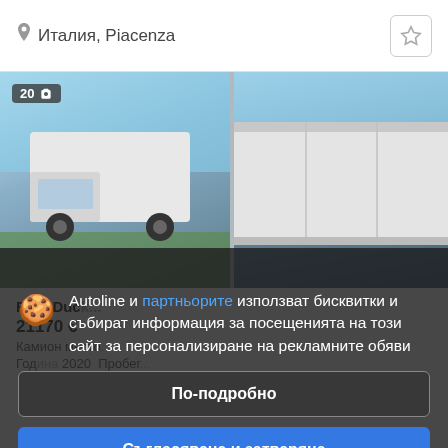Италия, Piacenza
[Figure (photo): Two views of a white box truck/van with curtainsider body, parked outdoors. Left photo shows front three-quarter view; right photo shows rear/side view of the box body. Photo count badge shows 20 photos.]
FIAT Duck...
21170 €
Камион место...
Година 2020  Пробег...
Autoline и партньорите използват бисквитки и събират информация за посещенията на този сайт за персонализиране на рекламните обяви
По-подробно
Съгласяване и затваряне